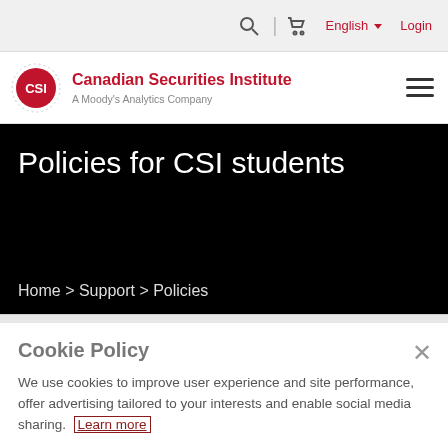English Login
[Figure (logo): CSI - Canadian Securities Institute, A Moody's Analytics Company logo]
Policies for CSI students
Home > Support > Policies
Cookie Policy
We use cookies to improve user experience and site performance, offer advertising tailored to your interests and enable social media sharing. Learn more